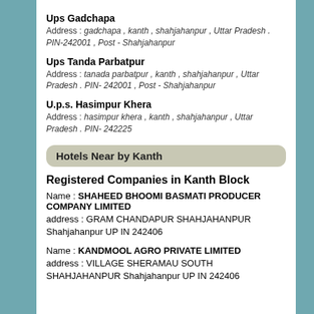Ups Gadchapa
Address : gadchapa , kanth , shahjahanpur , Uttar Pradesh . PIN-242001 , Post - Shahjahanpur
Ups Tanda Parbatpur
Address : tanada parbatpur , kanth , shahjahanpur , Uttar Pradesh . PIN- 242001 , Post - Shahjahanpur
U.p.s. Hasimpur Khera
Address : hasimpur khera , kanth , shahjahanpur , Uttar Pradesh . PIN- 242225
Hotels Near by Kanth
Registered Companies in Kanth Block
Name : SHAHEED BHOOMI BASMATI PRODUCER COMPANY LIMITED
address : GRAM CHANDAPUR SHAHJAHANPUR Shahjahanpur UP IN 242406
Name : KANDMOOL AGRO PRIVATE LIMITED
address : VILLAGE SHERAMAU SOUTH SHAHJAHANPUR Shahjahanpur UP IN 242406